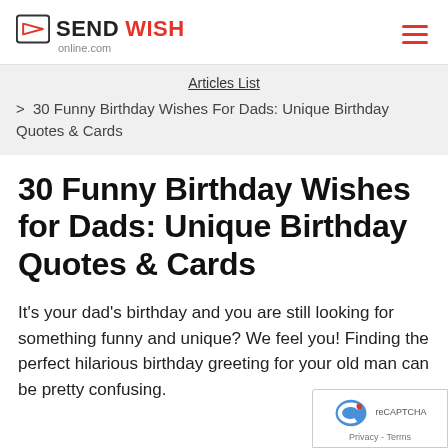SEND WISH online.com
Articles List
> 30 Funny Birthday Wishes For Dads: Unique Birthday Quotes & Cards
30 Funny Birthday Wishes for Dads: Unique Birthday Quotes & Cards
It's your dad's birthday and you are still looking for something funny and unique? We feel you! Finding the perfect hilarious birthday greeting for your old man can be pretty confusing.